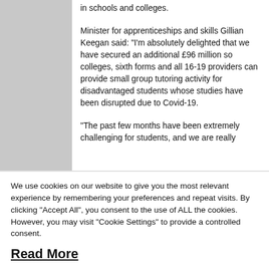in schools and colleges.
Minister for apprenticeships and skills Gillian Keegan said: "I'm absolutely delighted that we have secured an additional £96 million so colleges, sixth forms and all 16-19 providers can provide small group tutoring activity for disadvantaged students whose studies have been disrupted due to Covid-19.
"The past few months have been extremely challenging for students, and we are really
We use cookies on our website to give you the most relevant experience by remembering your preferences and repeat visits. By clicking "Accept All", you consent to the use of ALL the cookies. However, you may visit "Cookie Settings" to provide a controlled consent.
Read More
Cookie Settings | Reject All | Accept All